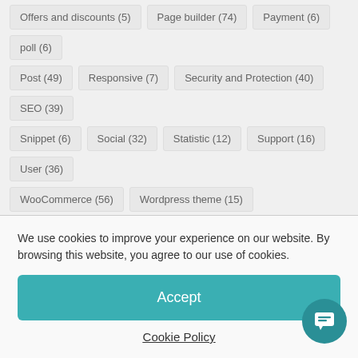Offers and discounts (5)
Page builder (74)
Payment (6)
poll (6)
Post (49)
Responsive (7)
Security and Protection (40)
SEO (39)
Snippet (6)
Social (32)
Statistic (12)
Support (16)
User (36)
WooCommerce (56)
Wordpress theme (15)
Recent Comments
How to turn off automatic updates in WordPress - LTHEME
on WordPress Themes
We use cookies to improve your experience on our website. By browsing this website, you agree to our use of cookies.
Accept
Cookie Policy